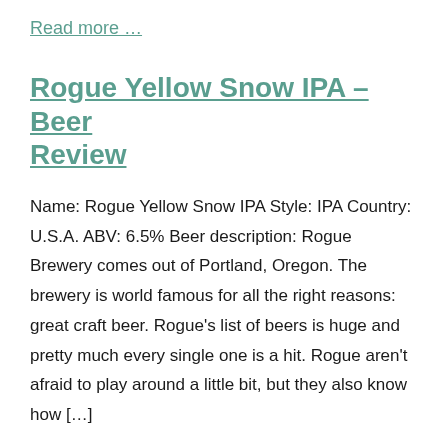Read more …
Rogue Yellow Snow IPA – Beer Review
Name: Rogue Yellow Snow IPA Style: IPA Country: U.S.A. ABV: 6.5% Beer description: Rogue Brewery comes out of Portland, Oregon. The brewery is world famous for all the right reasons: great craft beer. Rogue's list of beers is huge and pretty much every single one is a hit. Rogue aren't afraid to play around a little bit, but they also know how […]